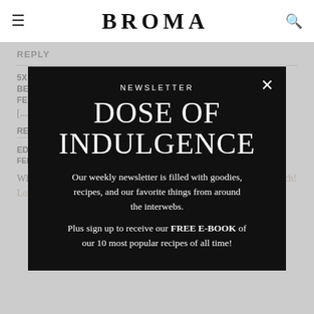BROMA
REPLY
5X
BE
FE
[...] G
RE
EDEN
FEBRUARY 23, 2017 AT 12:53 PM
What a fun way to serve smoothies for a baby or bridal shower brunch! Love this!!
[Figure (screenshot): Newsletter signup modal overlay with black background. Header says 'NEWSLETTER' in small caps, large title 'DOSE OF INDULGENCE', body text 'Our weekly newsletter is filled with goodies, recipes, and our favorite things from around the interwebs.' and promo text 'Plus sign up to receive our FREE E-BOOK of our 10 most popular recipes of all time!']